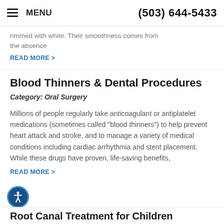MENU | (503) 644-5433
rimmed with white. Their smoothness comes from the absence
READ MORE >
Blood Thinners & Dental Procedures
Category: Oral Surgery
Millions of people regularly take anticoagulant or antiplatelet medications (sometimes called "blood thinners") to help prevent heart attack and stroke, and to manage a variety of medical conditions including cardiac arrhythmia and stent placement. While these drugs have proven, life-saving benefits,
READ MORE >
Root Canal Treatment for Children